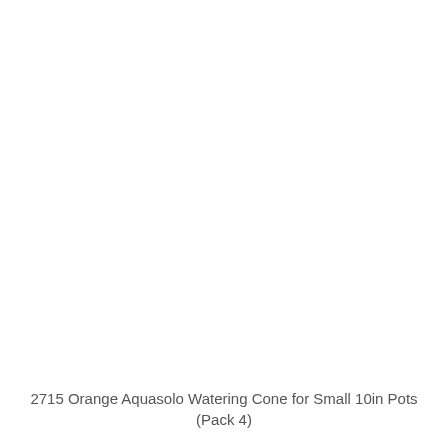2715 Orange Aquasolo Watering Cone for Small 10in Pots (Pack 4)